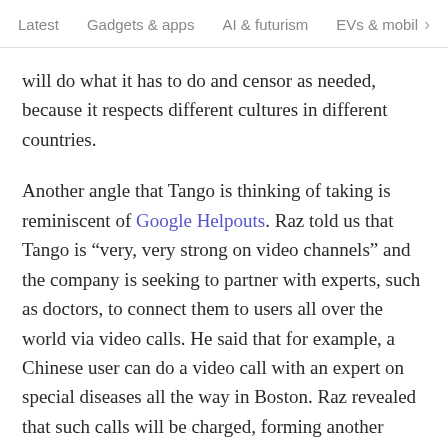Latest   Gadgets & apps   AI & futurism   EVs & mobil  >
will do what it has to do and censor as needed, because it respects different cultures in different countries.
Another angle that Tango is thinking of taking is reminiscent of Google Helpouts. Raz told us that Tango is “very, very strong on video channels” and the company is seeking to partner with experts, such as doctors, to connect them to users all over the world via video calls. He said that for example, a Chinese user can do a video call with an expert on special diseases all the way in Boston. Raz revealed that such calls will be charged, forming another revenue stream for Tango. However, Tango still